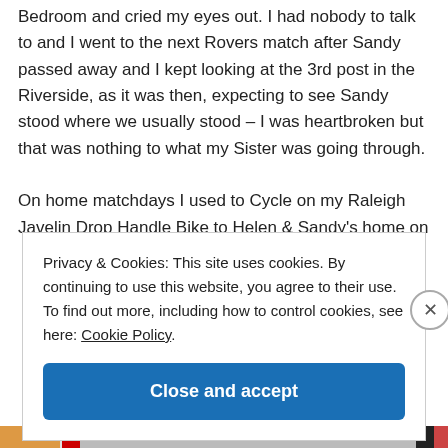Bedroom and cried my eyes out. I had nobody to talk to and I went to the next Rovers match after Sandy passed away and I kept looking at the 3rd post in the Riverside, as it was then, expecting to see Sandy stood where we usually stood – I was heartbroken but that was nothing to what my Sister was going through.
On home matchdays I used to Cycle on my Raleigh Javelin Drop Handle Bike to Helen & Sandy's home on
Privacy & Cookies: This site uses cookies. By continuing to use this website, you agree to their use.
To find out more, including how to control cookies, see here: Cookie Policy
Close and accept